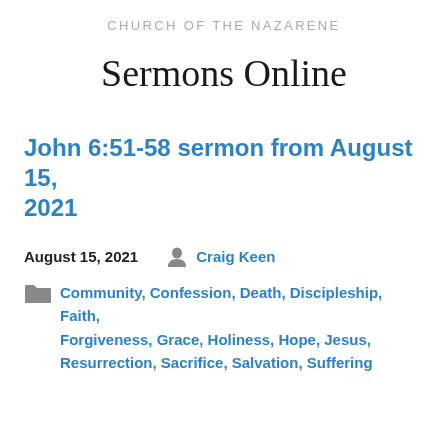CHURCH OF THE NAZARENE
Sermons Online
John 6:51-58 sermon from August 15, 2021
August 15, 2021   Craig Keen
Community, Confession, Death, Discipleship, Faith, Forgiveness, Grace, Holiness, Hope, Jesus, Resurrection, Sacrifice, Salvation, Suffering